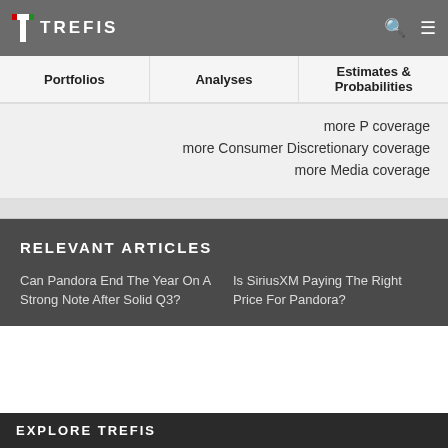TREFIS
Portfolios  Analyses  Estimates & Probabilities
more P coverage
more Consumer Discretionary coverage
more Media coverage
RELEVANT ARTICLES
Can Pandora End The Year On A Strong Note After Solid Q3?
Is SiriusXM Paying The Right Price For Pandora?
EXPLORE TREFIS